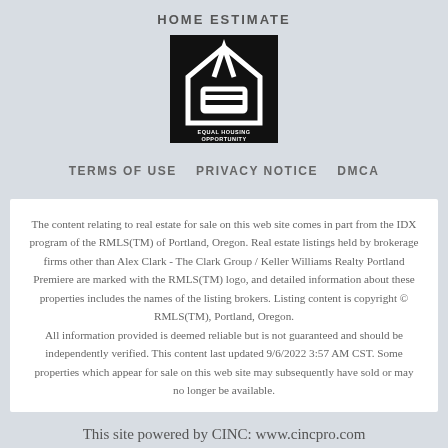HOME ESTIMATE
[Figure (logo): Equal Housing Opportunity logo — white house with equal sign on black background]
TERMS OF USE   PRIVACY NOTICE   DMCA
The content relating to real estate for sale on this web site comes in part from the IDX program of the RMLS(TM) of Portland, Oregon. Real estate listings held by brokerage firms other than Alex Clark - The Clark Group / Keller Williams Realty Portland Premiere are marked with the RMLS(TM) logo, and detailed information about these properties includes the names of the listing brokers. Listing content is copyright © RMLS(TM), Portland, Oregon.
All information provided is deemed reliable but is not guaranteed and should be independently verified. This content last updated 9/6/2022 3:57 AM CST. Some properties which appear for sale on this web site may subsequently have sold or may no longer be available.
This site powered by CINC: www.cincpro.com